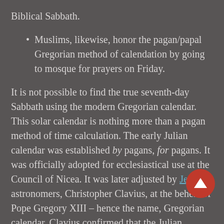Biblical Sabbath.
Muslims, likewise, honor the pagan/papal Gregorian method of calendation by going to mosque for prayers on Friday.
It is not possible to find the true seventh-day Sabbath using the modern Gregorian calendar. This solar calendar is nothing more than a pagan method of time calculation. The early Julian calendar was established by pagans, for pagans. It was officially adopted for ecclesiastical use at the Council of Nicea. It was later adjusted by Jesuit astronomers, Christopher Clavius, at the behest of Pope Gregory XIII – hence the name, Gregorian calendar. Clavius confirmed that the Julian calendar (and thus the Gregorian calendar that comes from it) is founded